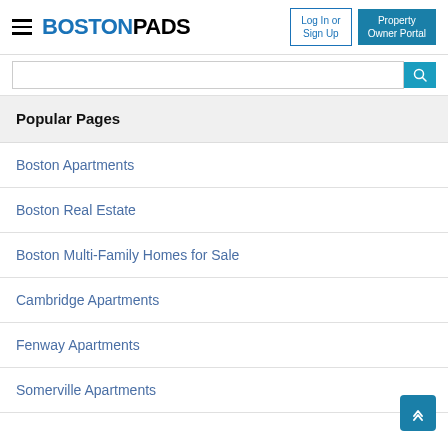BOSTONPADS — Log In or Sign Up | Property Owner Portal
Popular Pages
Boston Apartments
Boston Real Estate
Boston Multi-Family Homes for Sale
Cambridge Apartments
Fenway Apartments
Somerville Apartments